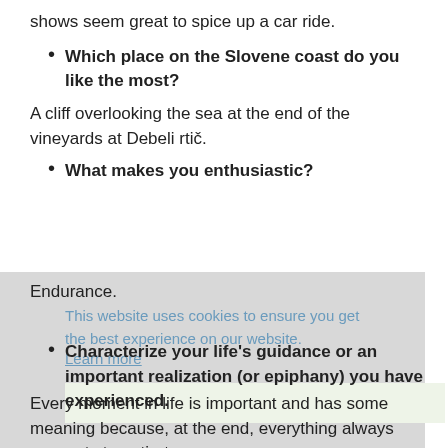shows seem great to spice up a car ride.
Which place on the Slovene coast do you like the most?
A cliff overlooking the sea at the end of the vineyards at Debeli rtič.
What makes you enthusiastic?
Endurance.
This website uses cookies to ensure you get the best experience on our website. Learn more
Characterize your life's guidance or an important realization (or epiphany) you have experienced.
Every moment in life is important and has some meaning because, at the end, everything always connects to entirety.